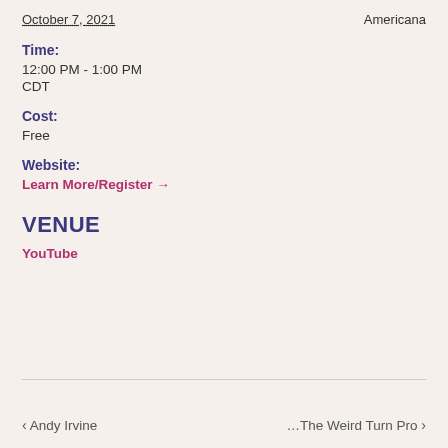October 7, 2021
Americana
Time:
12:00 PM - 1:00 PM
CDT
Cost:
Free
Website:
Learn More/Register →
VENUE
YouTube
‹ Andy Irvine
…The Weird Turn Pro ›